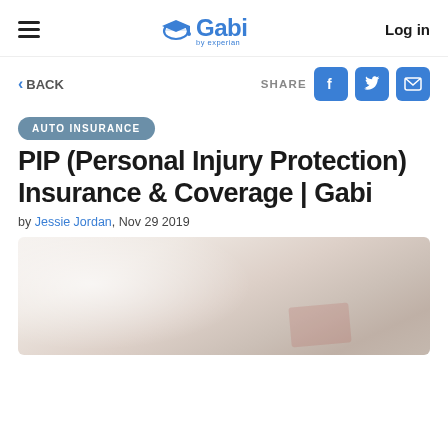Gabi by Experian — Log in
< BACK
SHARE
AUTO INSURANCE
PIP (Personal Injury Protection) Insurance & Coverage | Gabi
by Jessie Jordan,  Nov 29 2019
[Figure (photo): Blurred close-up photo related to personal injury or medical/insurance topic]